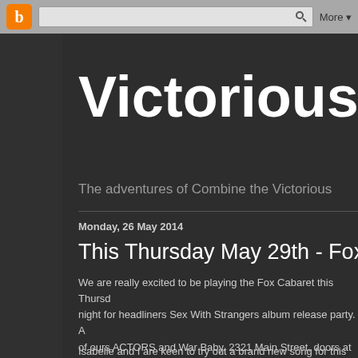Blogger navbar with logo, search bar, and More button
Victorious Com
The adventures of Combine the Victorious
Monday, 26 May 2014
This Thursday May 29th - Fox Cabare
We are really excited to be playing the Fox Cabaret this Thursd... night for headliners Sex With Strangers album release party.  A... of ours ACTORS and War Baby.  2321 Main Street, doors at 8... 8:30, plus it is a FREE SHOW!  So there are no reasons not to... music, without a doubt.
Isabelle and I are keen to try out a brand new song for this sho...